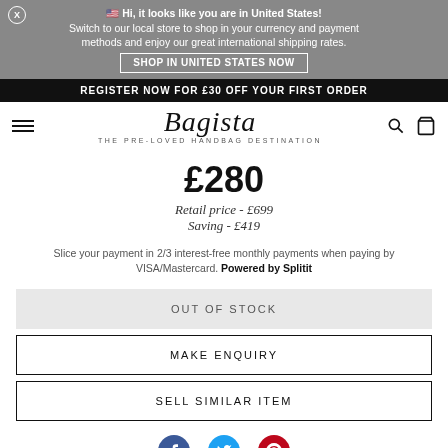🇺🇸 Hi, it looks like you are in United States! Switch to our local store to shop in your currency and payment methods and enjoy our great international shipping rates. SHOP IN UNITED STATES NOW
REGISTER NOW FOR £30 OFF YOUR FIRST ORDER
Bagista — THE PRE-LOVED HANDBAG DESTINATION
£280
Retail price - £699
Saving - £419
Slice your payment in 2/3 interest-free monthly payments when paying by VISA/Mastercard. Powered by Splitit
OUT OF STOCK
MAKE ENQUIRY
SELL SIMILAR ITEM